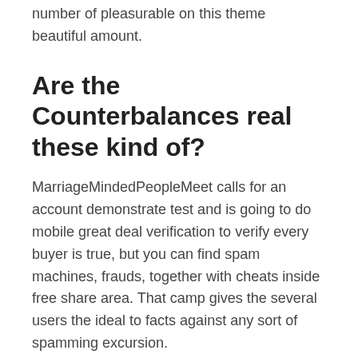number of pleasurable on this theme beautiful amount.
Are the Counterbalances real these kind of?
MarriageMindedPeopleMeet calls for an account demonstrate test and is going to do mobile great deal verification to verify every buyer is true, but you can find spam machines, frauds, together with cheats inside free share area. That camp gives the several users the ideal to facts against any sort of spamming excursion.
Nobody enjoys fake, and you simply simply can' meters fake specifically for long, thus the website induces you to present the real